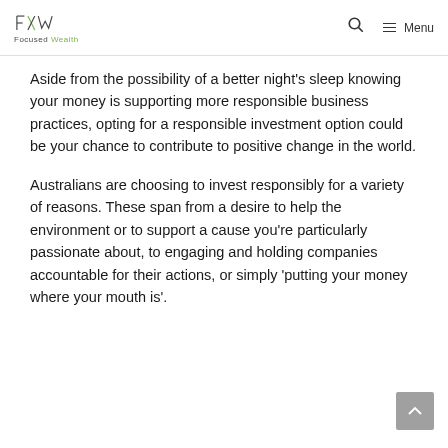Focused Wealth — Menu
Aside from the possibility of a better night's sleep knowing your money is supporting more responsible business practices, opting for a responsible investment option could be your chance to contribute to positive change in the world.
Australians are choosing to invest responsibly for a variety of reasons. These span from a desire to help the environment or to support a cause you're particularly passionate about, to engaging and holding companies accountable for their actions, or simply 'putting your money where your mouth is'.